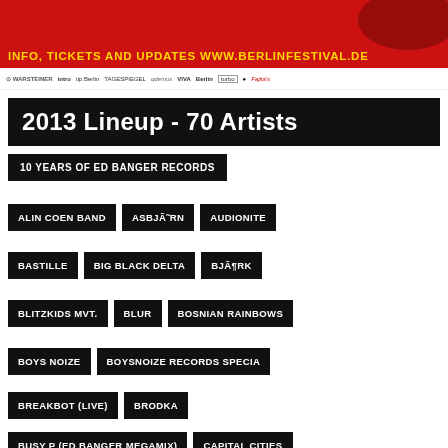[Figure (other): Berlin Festival banner with red background showing INFO, TICKETS AND UPDATES WWW.BERLINFESTIVAL.DE in yellow text with bird silhouette]
[Figure (other): Sponsor logos bar: WARSTEINER, intro, tip Berlin, TAGESPIEGEL, gewandts, VIVA, Berlin, turbo, capital republic]
2013 Lineup - 70 Artists
10 YEARS OF ED BANGER RECORDS
ALIN COEN BAND
ASBJÃ˜RN
AUDIONITE
BASTILLE
BIG BLACK DELTA
BJÃ¶RK
BLITZKIDS MVT.
BLUR
BOSNIAN RAINBOWS
BOYS NOIZE
BOYSNOIZE RECORDS SPECIA
BREAKBOT (LIVE)
BRODKA
BUSY P (ED BANGER MEGAMIX)
CAPITAL CITIES